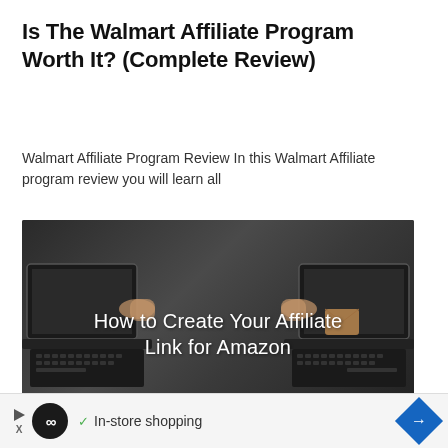Is The Walmart Affiliate Program Worth It? (Complete Review)
Walmart Affiliate Program Review In this Walmart Affiliate program review you will learn all
[Figure (screenshot): Dark-themed image showing two laptop screens facing each other with hands exchanging a package between them, overlaid with white text reading 'How to Create Your Affiliate Link for Amazon']
In-store shopping